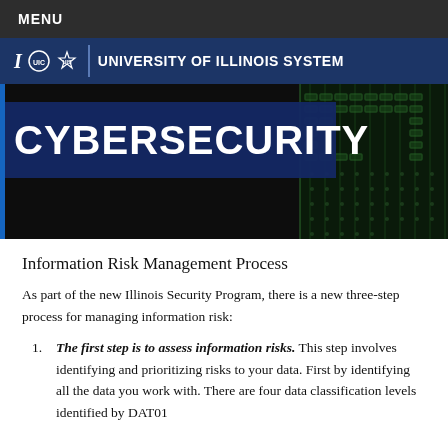MENU
University of Illinois System
[Figure (illustration): Hero banner with circuit board background image and CYBERSECURITY title overlay on dark navy blue box]
Information Risk Management Process
As part of the new Illinois Security Program, there is a new three-step process for managing information risk:
The first step is to assess information risks. This step involves identifying and prioritizing risks to your data. First by identifying all the data you work with. There are four data classification levels identified by DAT01